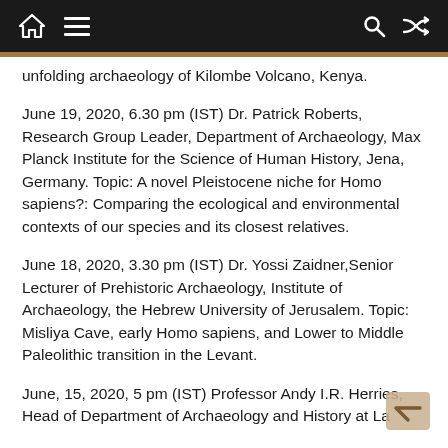Navigation bar with home, menu, search, and shuffle icons
unfolding archaeology of Kilombe Volcano, Kenya.
June 19, 2020, 6.30 pm (IST) Dr. Patrick Roberts, Research Group Leader, Department of Archaeology, Max Planck Institute for the Science of Human History, Jena, Germany. Topic: A novel Pleistocene niche for Homo sapiens?: Comparing the ecological and environmental contexts of our species and its closest relatives.
June 18, 2020, 3.30 pm (IST) Dr. Yossi Zaidner,Senior Lecturer of Prehistoric Archaeology, Institute of Archaeology, the Hebrew University of Jerusalem. Topic: Misliya Cave, early Homo sapiens, and Lower to Middle Paleolithic transition in the Levant.
June, 15, 2020, 5 pm (IST) Professor Andy I.R. Herries, Head of Department of Archaeology and History at La